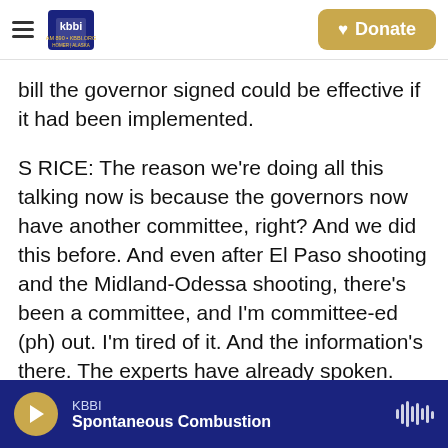KBBI AM 890 | KBBI.ORG HOMER ALASKA — navigation bar with Donate button
bill the governor signed could be effective if it had been implemented.
S RICE: The reason we're doing all this talking now is because the governors now have another committee, right? And we did this before. And even after El Paso shooting and the Midland-Odessa shooting, there's been a committee, and I'm committee-ed (ph) out. I'm tired of it. And the information's there. The experts have already spoken. They've already put out all the information. So why can't we do something right now? Why can't we say, this is enough; I'm making these minimum
KBBI — Spontaneous Combustion (audio player)